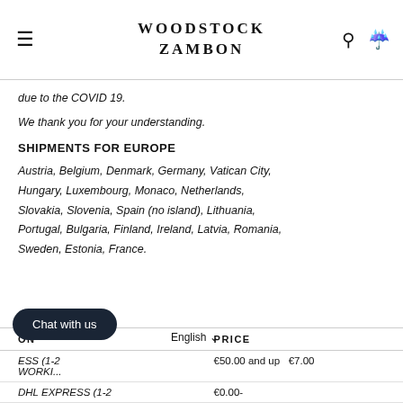WOODSTOCK ZAMBON
due to the COVID 19.
We thank you for your understanding.
SHIPMENTS FOR EUROPE
Austria, Belgium, Denmark, Germany, Vatican City, Hungary, Luxembourg, Monaco, Netherlands, Slovakia, Slovenia, Spain (no island), Lithuania, Portugal, Bulgaria, Finland, Ireland, Latvia, Romania, Sweden, Estonia, France.
| ON | PRICE |
| --- | --- |
| ESS (1-2 WORLDE... | €50.00 and up  €7.00 |
| DHL EXPRESS (1-2 | €0.00- |